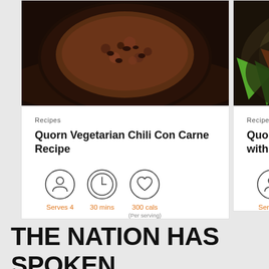[Figure (photo): Photo of a dark bowl of vegetarian chili con carne from above, with dark chili mixture visible]
Recipes
Quorn Vegetarian Chili Con Carne Recipe
[Figure (infographic): Three icons: person/serve icon, clock icon, heart icon with labels Serves 4, 30 mins, 300 cals (Per serving)]
[Figure (photo): Partially visible photo of a plate with colorful vegetables including green and orange pieces]
Recipes
Quorn Meatle... with Cauliflo...
[Figure (infographic): Person/serve icon with label Serves 4]
THE NATION HAS SPOKEN